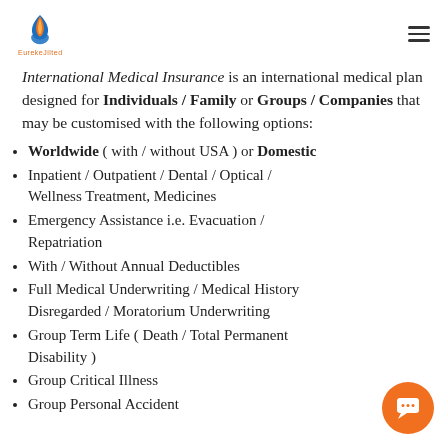EurekaJilted logo and navigation menu
International Medical Insurance is an international medical plan designed for Individuals / Family or Groups / Companies that may be customised with the following options:
Worldwide ( with / without USA ) or Domestic
Inpatient / Outpatient / Dental / Optical / Wellness Treatment, Medicines
Emergency Assistance i.e. Evacuation / Repatriation
With / Without Annual Deductibles
Full Medical Underwriting / Medical History Disregarded / Moratorium Underwriting
Group Term Life ( Death / Total Permanent Disability )
Group Critical Illness
Group Personal Accident